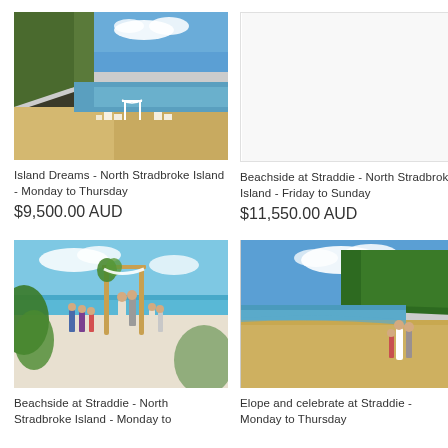[Figure (photo): Beach wedding setup at North Stradbroke Island - white arch and chairs on sandy beach with rocky headland]
Island Dreams - North Stradbroke Island - Monday to Thursday
$9,500.00 AUD
[Figure (photo): Empty white image placeholder for Beachside at Straddie North Stradbroke Island Friday to Sunday]
Beachside at Straddie - North Stradbroke Island - Friday to Sunday
$11,550.00 AUD
[Figure (photo): Beach wedding ceremony at North Stradbroke Island with couple under bamboo arch, guests watching, turquoise ocean background]
Beachside at Straddie - North Stradbroke Island - Monday to
[Figure (photo): Couple walking on beach at North Stradbroke Island with lush green headland, blue sky and ocean in background]
Elope and celebrate at Straddie - Monday to Thursday